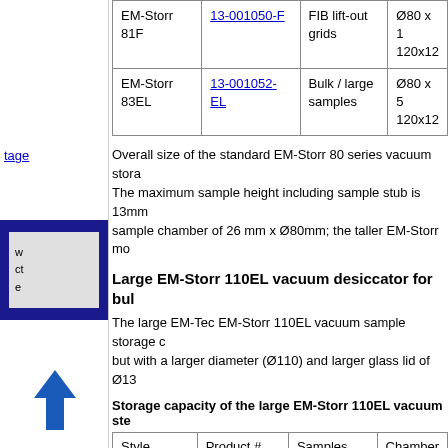| Style | Product # | Samples | Chamber |
| --- | --- | --- | --- |
| EM-Storr 81F | 13-001050-F | FIB lift-out grids | Ø80 x 1 120x12 |
| EM-Storr 83EL | 13-001052-EL | Bulk / large samples | Ø80 x 5 120x12 |
Overall size of the standard EM-Storr 80 series vacuum stora The maximum sample height including sample stub is 13mm sample chamber of 26 mm x Ø80mm; the taller EM-Storr mo
Large EM-Storr 110EL vacuum desiccator for bul
The large EM-Tec EM-Storr 110EL vacuum sample storage c but with a larger diameter (Ø110) and larger glass lid of Ø13
Storage capacity of the large EM-Storr 110EL vacuum ste
| Style | Product # | Samples | Chamber |
| --- | --- | --- | --- |
| EM-Storr 110EL | 13-001055-EL | Bulk/large samples | Ø110 x 9 150x150 |
TSB 13-001050 EM-Tec EM-Storr vacuum sample storage cc